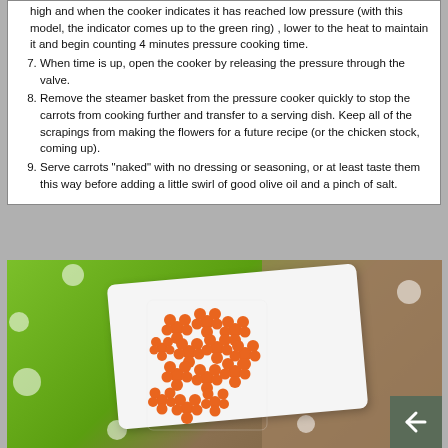high and when the cooker indicates it has reached low pressure (with this model, the indicator comes up to the green ring) , lower to the heat to maintain it and begin counting 4 minutes pressure cooking time.
7. When time is up, open the cooker by releasing the pressure through the valve.
8. Remove the steamer basket from the pressure cooker quickly to stop the carrots from cooking further and transfer to a serving dish. Keep all of the scrapings from making the flowers for a future recipe (or the chicken stock, coming up).
9. Serve carrots "naked" with no dressing or seasoning, or at least taste them this way before adding a little swirl of good olive oil and a pinch of salt.
[Figure (photo): Flower-shaped carrot slices arranged on a white rectangular plate, placed on a bright green polka-dot cloth/napkin with a brown background.]